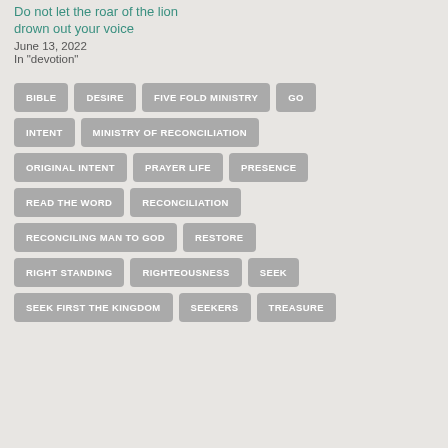Do not let the roar of the lion drown out your voice
June 13, 2022
In "devotion"
BIBLE
DESIRE
FIVE FOLD MINISTRY
GO
INTENT
MINISTRY OF RECONCILIATION
ORIGINAL INTENT
PRAYER LIFE
PRESENCE
READ THE WORD
RECONCILIATION
RECONCILING MAN TO GOD
RESTORE
RIGHT STANDING
RIGHTEOUSNESS
SEEK
SEEK FIRST THE KINGDOM
SEEKERS
TREASURE